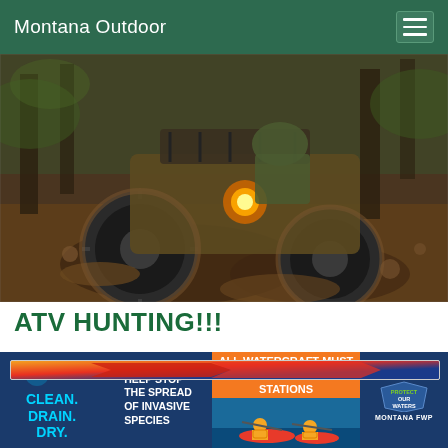Montana Outdoor
[Figure (photo): ATV covered in mud driving through forest terrain with rider in camouflage]
ATV HUNTING!!!
[Figure (infographic): Clean. Drain. Dry. - Help Stop the Spread of Invasive Species - All Watercraft Must Stop at Inspection Stations - Protect Our Waters - Montana FWP banner advertisement]